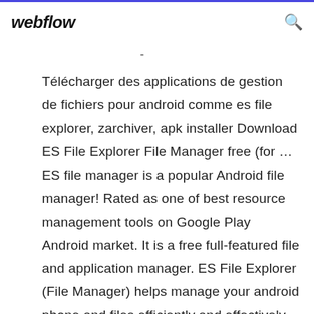webflow
Télécharger des applications de gestion de fichiers pour android comme es file explorer, zarchiver, apk installer Download ES File Explorer File Manager free (for … ES file manager is a popular Android file manager! Rated as one of best resource management tools on Google Play Android market. It is a free full-featured file and application manager. ES File Explorer (File Manager) helps manage your android phone and files efficiently and effectively. ES file Explorer is one of the most popularRead More Download ES File Explorer/Manager PRO 1.1.4.1 for … 10/07/2018 ·